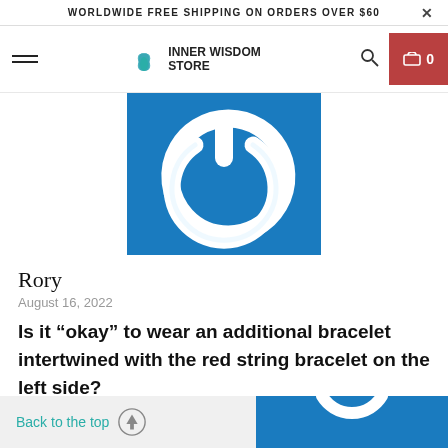WORLDWIDE FREE SHIPPING ON ORDERS OVER $60
[Figure (logo): Inner Wisdom Store logo with lotus flower icon and navigation bar including hamburger menu, search icon, and cart button showing 0 items]
[Figure (photo): Blue square background with white 3D power button icon]
Rory
August 16, 2022
Is it “okay” to wear an additional bracelet intertwined with the red string bracelet on the left side?
Back to the top